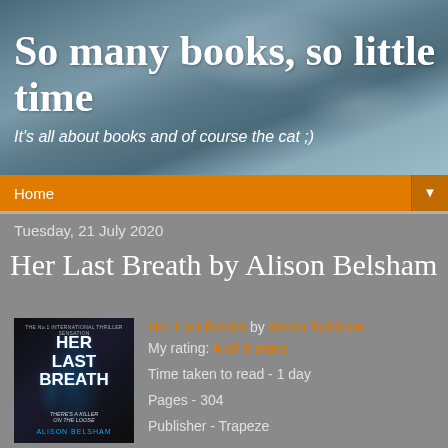So many books, so little time
It's all about books and of course the cat ;)
Home
Tuesday, 21 July 2020
Her Last Breath by Alison Belsham
[Figure (photo): Book cover of 'Her Last Breath' by Alison Belsham, dark background with blue swirling snake-like patterns and bold white text]
Her Last Breath by Alison Belsham
My rating: 4 of 5 stars

Time taken to read - 1 day

Pages - 304

Publisher - Trapeze